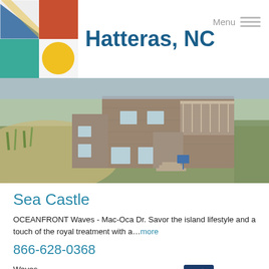Hatteras, NC
[Figure (photo): Exterior photo of a multi-level oceanfront beach house with wooden siding, decks, and dune grass in foreground]
Sea Castle
OCEANFRONT Waves - Mac-Oca Dr. Savor the island lifestyle and a touch of the royal treatment with a...more
866-628-0368
Waves
5 Bedrooms
5.5 Bathrooms
[Figure (logo): Surf or Sound Realty logo with stylized S wave icon]